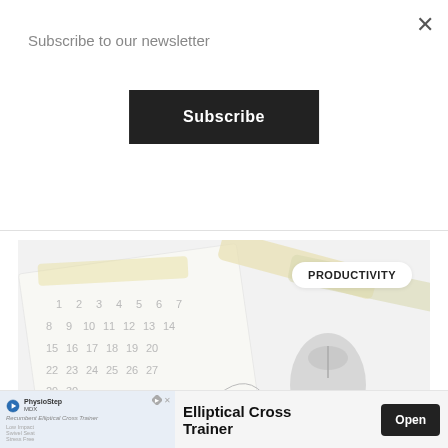Subscribe to our newsletter
Subscribe
[Figure (photo): A washed-out/light photo of a calendar with numbers, highlighter markers, and a computer mouse on a white surface. A badge in the top right reads 'PRODUCTIVITY'.]
PRODUCTIVITY
Elliptical Cross Trainer
Open